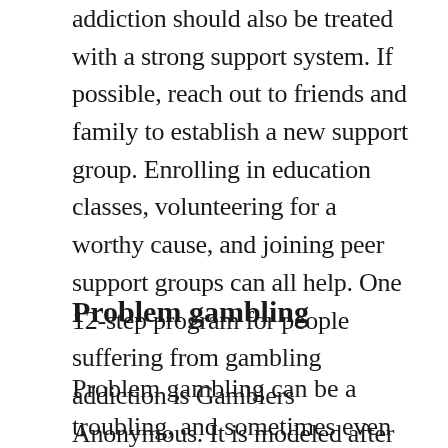addiction should also be treated with a strong support system. If possible, reach out to friends and family to establish a new support group. Enrolling in education classes, volunteering for a worthy cause, and joining peer support groups can all help. One 12-step program for people suffering from gambling addiction is Gamblers Anonymous. It is modeled after Alcoholics Anonymous, and each member has a sponsor who provides guidance and support.
Problem gambling
Problem gambling can be a troubling, and sometimes even dangerous, behavior.